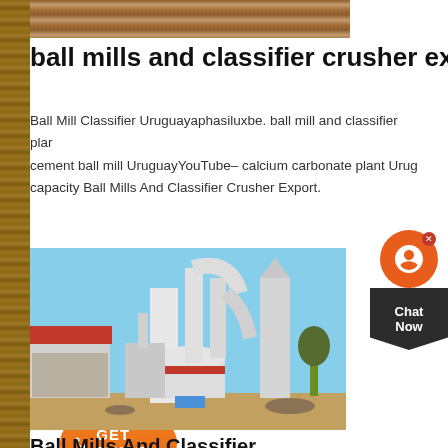[Figure (photo): Wooden texture strip at the top of the page, cropped]
ball mills and classifier crusher export
Ball Mill Classifier Uruguayaphasiluxbe. ball mill and classifier plant cement ball mill UruguayYouTube– calcium carbonate plant Urug... capacity Ball Mills And Classifier Crusher Export.
[Figure (other): Orange GET PRICE button with phone icon]
[Figure (photo): Outdoor industrial grinding/milling plant with white silos, cyclones, and pipes against a blue sky, with a red-roofed building on the left]
Ball Mills And Classifier
classifier used in vertical roller mill. classifier used in vertical roller mills, roller presses (typically in combination with a ball mill), proce...